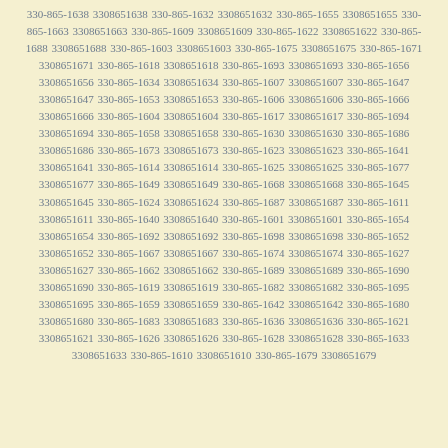330-865-1638 3308651638 330-865-1632 3308651632 330-865-1655 3308651655 330-865-1663 3308651663 330-865-1609 3308651609 330-865-1622 3308651622 330-865-1688 3308651688 330-865-1603 3308651603 330-865-1675 3308651675 330-865-1671 3308651671 330-865-1618 3308651618 330-865-1693 3308651693 330-865-1656 3308651656 330-865-1634 3308651634 330-865-1607 3308651607 330-865-1647 3308651647 330-865-1653 3308651653 330-865-1606 3308651606 330-865-1666 3308651666 330-865-1604 3308651604 330-865-1617 3308651617 330-865-1694 3308651694 330-865-1658 3308651658 330-865-1630 3308651630 330-865-1686 3308651686 330-865-1673 3308651673 330-865-1623 3308651623 330-865-1641 3308651641 330-865-1614 3308651614 330-865-1625 3308651625 330-865-1677 3308651677 330-865-1649 3308651649 330-865-1668 3308651668 330-865-1645 3308651645 330-865-1624 3308651624 330-865-1687 3308651687 330-865-1611 3308651611 330-865-1640 3308651640 330-865-1601 3308651601 330-865-1654 3308651654 330-865-1692 3308651692 330-865-1698 3308651698 330-865-1652 3308651652 330-865-1667 3308651667 330-865-1674 3308651674 330-865-1627 3308651627 330-865-1662 3308651662 330-865-1689 3308651689 330-865-1690 3308651690 330-865-1619 3308651619 330-865-1682 3308651682 330-865-1695 3308651695 330-865-1659 3308651659 330-865-1642 3308651642 330-865-1680 3308651680 330-865-1683 3308651683 330-865-1636 3308651636 330-865-1621 3308651621 330-865-1626 3308651626 330-865-1628 3308651628 330-865-1633 3308651633 330-865-1610 3308651610 330-865-1679 3308651679